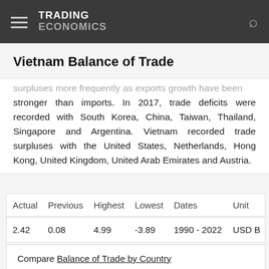TRADING ECONOMICS
Vietnam Balance of Trade
surpluses more frequently as exports growth have been stronger than imports. In 2017, trade deficits were recorded with South Korea, China, Taiwan, Thailand, Singapore and Argentina. Vietnam recorded trade surpluses with the United States, Netherlands, Hong Kong, United Kingdom, United Arab Emirates and Austria.
| Actual | Previous | Highest | Lowest | Dates | Unit |
| --- | --- | --- | --- | --- | --- |
| 2.42 | 0.08 | 4.99 | -3.89 | 1990 - 2022 | USD B |
Compare Balance of Trade by Country